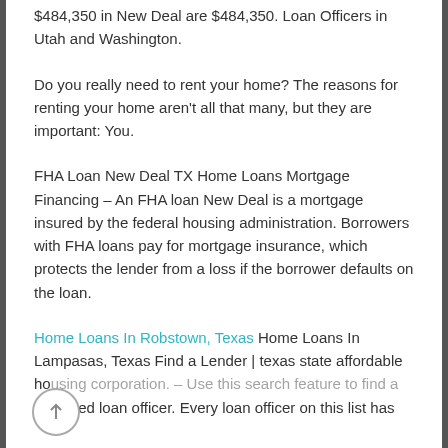$484,350 in New Deal are $484,350. Loan Officers in Utah and Washington.
Do you really need to rent your home? The reasons for renting your home aren't all that many, but they are important: You.
FHA Loan New Deal TX Home Loans Mortgage Financing – An FHA loan New Deal is a mortgage insured by the federal housing administration. Borrowers with FHA loans pay for mortgage insurance, which protects the lender from a loss if the borrower defaults on the loan.
Home Loans In Robstown, Texas Home Loans In Lampasas, Texas Find a Lender | texas state affordable housing corporation. – Use this search feature to find a preferred loan officer. Every loan officer on this list has